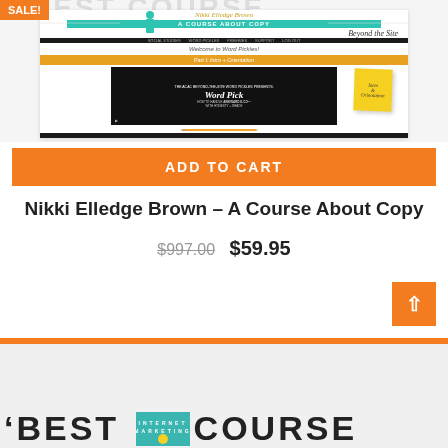[Figure (screenshot): Screenshot of 'A Course About Copy – Beyond the Site' by Nikki Elledge Brown, showing course interface with video player, Word Pickles module, yellow sticky note with 'Intro & Orientation', and pencil graphic. Has SALE! badge.]
ADD TO CART
Nikki Elledge Brown – A Course About Copy
$997.00  $59.95
[Figure (screenshot): Partial bottom banner showing 'BEST COURSE' text with internet marketing badge, orange bar at bottom.]